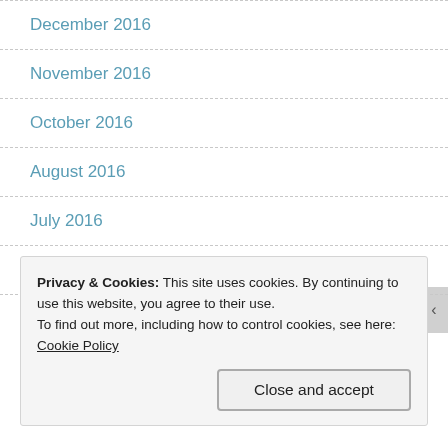December 2016
November 2016
October 2016
August 2016
July 2016
June 2016
May 2016
Privacy & Cookies: This site uses cookies. By continuing to use this website, you agree to their use.
To find out more, including how to control cookies, see here: Cookie Policy
Close and accept